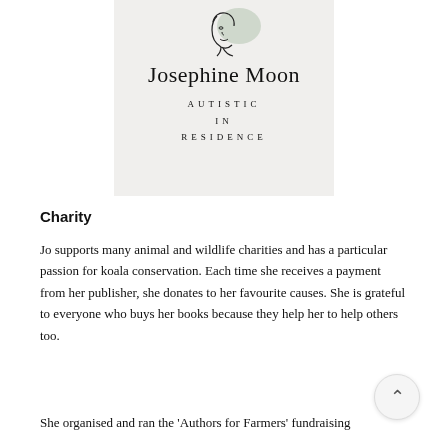[Figure (illustration): Book cover for 'Autistic in Residence' by Josephine Moon showing a minimalist line drawing of a face and the title text on a light grey background.]
Charity
Jo supports many animal and wildlife charities and has a particular passion for koala conservation. Each time she receives a payment from her publisher, she donates to her favourite causes. She is grateful to everyone who buys her books because they help her to help others too.
She organised and ran the 'Authors for Farmers' fundraising